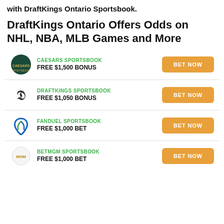with DraftKings Ontario Sportsbook.
DraftKings Ontario Offers Odds on NHL, NBA, MLB Games and More
| Logo | Sportsbook | Bonus | CTA |
| --- | --- | --- | --- |
| Caesars logo | CAESARS SPORTSBOOK | FREE $1,500 BONUS | BET NOW |
| DraftKings logo | DRAFTKINGS SPORTSBOOK | FREE $1,050 BONUS | BET NOW |
| FanDuel logo | FANDUEL SPORTSBOOK | FREE $1,000 BET | BET NOW |
| BetMGM logo | BETMGM SPORTSBOOK | FREE $1,000 BET | BET NOW |